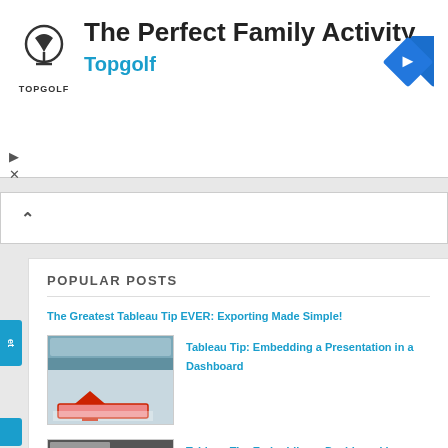[Figure (other): Topgolf advertisement banner with logo, title 'The Perfect Family Activity', and 'Topgolf' subtitle with a blue navigation arrow icon]
POPULAR POSTS
The Greatest Tableau Tip EVER: Exporting Made Simple!
[Figure (screenshot): Screenshot thumbnail showing Tableau interface with a red arrow pointing to a menu option]
Tableau Tip: Embedding a Presentation in a Dashboard
[Figure (screenshot): Screenshot thumbnail showing PowerPoint interface with Show, Review, View tabs and Media Clips, Web Page, Edit Page Property options]
Tableau Tip: Embedding a Dashboard in PowerPoint in 8 simple steps (Yes, you read that right!)
Financial Times Visual Vocabulary: Tableau